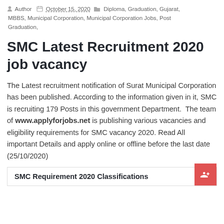Author  October 15, 2020  Diploma, Graduation, Gujarat, MBBS, Municipal Corporation, Municipal Corporation Jobs, Post Graduation,
SMC Latest Recruitment 2020 job vacancy
The Latest recruitment notification of Surat Municipal Corporation has been published. According to the information given in it, SMC is recruiting 179 Posts in this government Department.  The team of www.applyforjobs.net is publishing various vacancies and eligibility requirements for SMC vacancy 2020. Read All important Details and apply online or offline before the last date (25/10/2020)
SMC Requirement 2020 Classifications